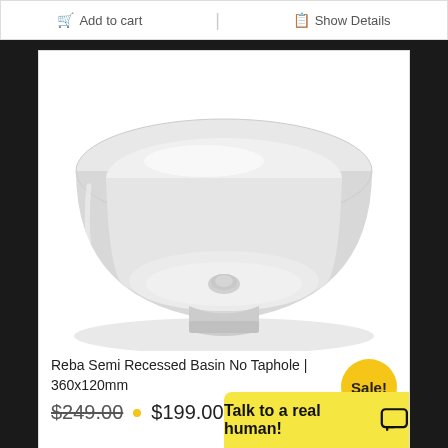Add to cart
Show Details
[Figure (photo): White ceramic round semi-recessed basin viewed from above at an angle, showing the bowl interior with a drain plug visible at the bottom center. The basin has a smooth matte white finish.]
Reba Semi Recessed Basin No Taphole | 360x120mm
$249.00  $199.00
Sale!
Talk to a real human!